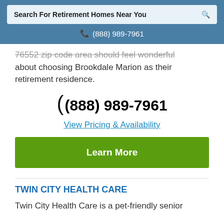Search For Retirement Homes Near You
(888) 989-7961
76552 zip code area should feel wonderful about choosing Brookdale Marion as their retirement residence.
(888) 989-7961
View Pricing & Availability
Learn More
TWIN CITY HEALTH CARE
Twin City Health Care is a pet-friendly senior